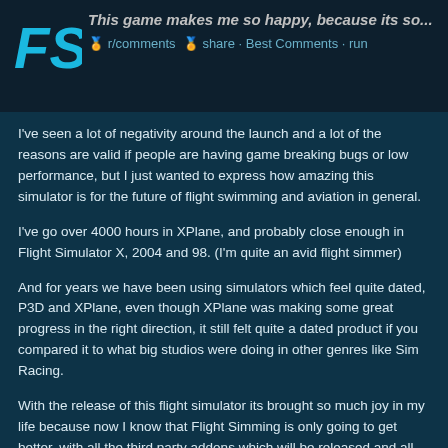This game makes me so happy, because its so...
I've seen a lot of negativity around the launch and a lot of the reasons are valid if people are having game breaking bugs or low performance, but I just wanted to express how amazing this simulator is for the future of flight swimming and aviation in general.
I've go over 4000 hours in XPlane, and probably close enough in Flight Simulator X, 2004 and 98. (I'm quite an avid flight simmer)
And for years we have been using simulators which feel quite dated, P3D and XPlane, even though XPlane was making some great progress in the right direction, it still felt quite a dated product if you compared it to what big studios were doing in other genres like Sim Racing.
With the release of this flight simulator its brought so much joy in my life because now I know that Flight Simming is only going to get better, with all the third party addons which will be released and all the hard work Asobo will put into it, its really...